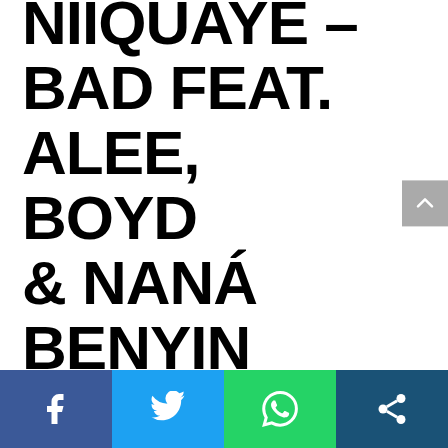NIIQUAYE – BAD FEAT. ALEE, BOYD & NANA BENYIN
[Figure (infographic): Social sharing bar with four buttons: Facebook (blue), Twitter (light blue), WhatsApp (green), Share (dark blue)]